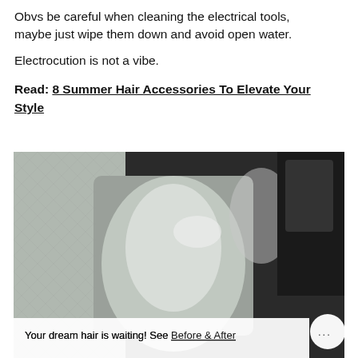Obvs be careful when cleaning the electrical tools, maybe just wipe them down and avoid open water.
Electrocution is not a vibe.
Read: 8 Summer Hair Accessories To Elevate Your Style
[Figure (photo): Close-up photo of a hand with shiny metallic/chrome surface and glass-like texture, in dark setting]
Your dream hair is waiting! See Before & After